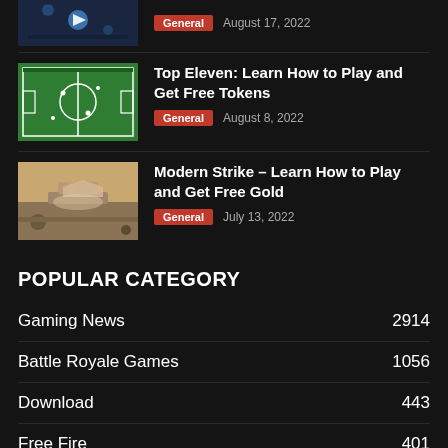[Figure (photo): Partial thumbnail of a game screenshot (top of page, cropped)]
General  August 17, 2022
[Figure (photo): Thumbnail of Top Eleven football game screenshot]
Top Eleven: Learn How to Play and Get Free Tokens
General  August 8, 2022
[Figure (photo): Thumbnail of Modern Strike game screenshot]
Modern Strike – Learn How to Play and Get Free Gold
General  July 13, 2022
POPULAR CATEGORY
Gaming News  2914
Battle Royale Games  1056
Download  443
Free Fire  401
Pubg Mobile  322